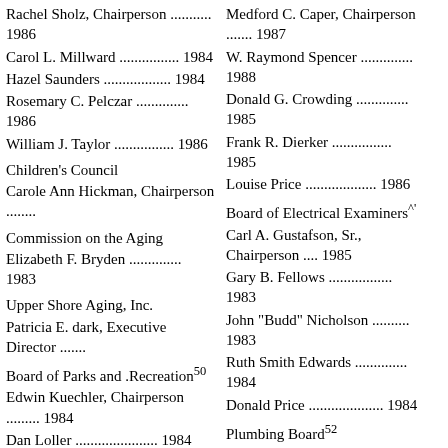Rachel Sholz, Chairperson ........... 1986
Carol L. Millward ................ 1984
Hazel Saunders .................. 1984
Rosemary C. Pelczar .............. 1986
William J. Taylor ................ 1986
Children's Council
Carole Ann Hickman, Chairperson ........
Commission on the Aging
Elizabeth F. Bryden .............. 1983
Upper Shore Aging, Inc.
Patricia E. dark, Executive Director .......
Board of Parks and .Recreation50
Edwin Kuechler, Chairperson ......... 1984
Dan Loller ...................... 1984
Catherine G. Starkey .............. 1984
Medford C. Caper, Chairperson ....... 1987
W. Raymond Spencer .............. 1988
Donald G. Crowding .............. 1985
Frank R. Dierker ................ 1985
Louise Price ................... 1986
Board of Electrical Examiners^
Carl A. Gustafson, Sr., Chairperson .... 1985
Gary B. Fellows ................. 1983
John "Budd" Nicholson ........... 1983
Ruth Smith Edwards ............... 1984
Donald Price .................... 1984
Plumbing Board52
C. Albert Raleigh, Chairperson ....... 1985
Theodore Redman ................ 1983